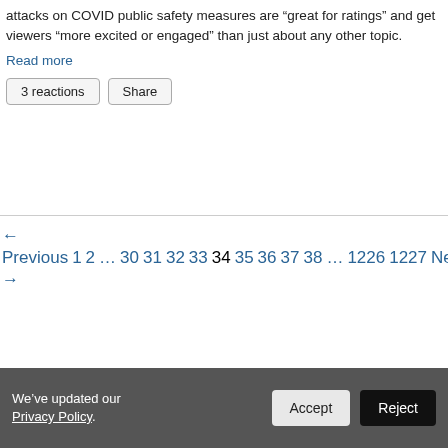attacks on COVID public safety measures are “great for ratings” and get viewers “more excited or engaged” than just about any other topic.
Read more
3 reactions   Share
← Previous 1 2 … 30 31 32 33 34 35 36 37 38 … 1226 1227 Next →
We’ve updated our Privacy Policy.   Accept   Reject